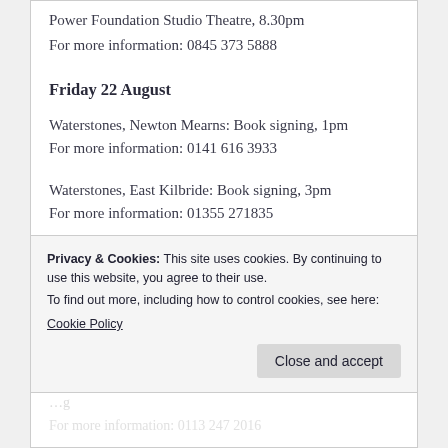Power Foundation Studio Theatre, 8.30pm
For more information: 0845 373 5888
Friday 22 August
Waterstones, Newton Mearns: Book signing, 1pm
For more information: 0141 616 3933
Waterstones, East Kilbride: Book signing, 3pm
For more information: 01355 271835
Privacy & Cookies: This site uses cookies. By continuing to use this website, you agree to their use.
To find out more, including how to control cookies, see here: Cookie Policy
Close and accept